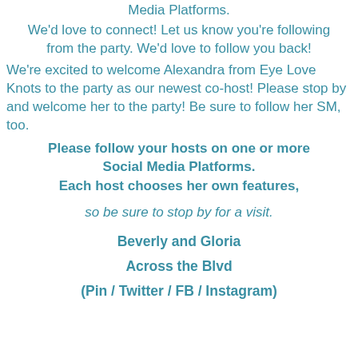Media Platforms.
We'd love to connect! Let us know you're following from the party. We'd love to follow you back!
We're excited to welcome Alexandra from Eye Love Knots to the party as our newest co-host! Please stop by and welcome her to the party! Be sure to follow her SM, too.
Please follow your hosts on one or more Social Media Platforms.
Each host chooses her own features,
so be sure to stop by for a visit.
Beverly and Gloria
Across the Blvd
(Pin / Twitter / FB / Instagram)